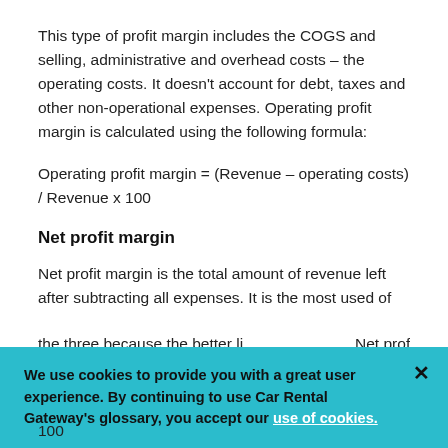This type of profit margin includes the COGS and selling, administrative and overhead costs – the operating costs. It doesn't account for debt, taxes and other non-operational expenses. Operating profit margin is calculated using the following formula:
Net profit margin
Net profit margin is the total amount of revenue left after subtracting all expenses. It is the most used of the three because it better lines. Net profit...
We use cookies to provide you with a great user experience. By continuing to use Car Rental Gateway's glossary, you accept our use of cookies.
100